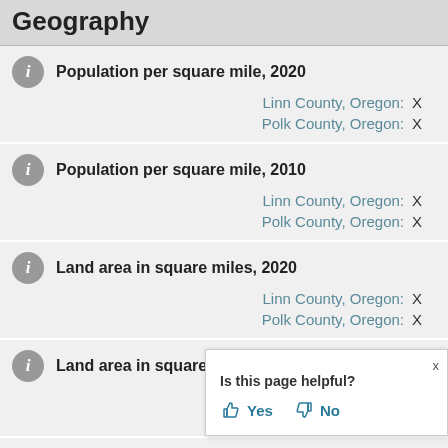Geography
Population per square mile, 2020
Linn County, Oregon: X
Polk County, Oregon: X
Population per square mile, 2010
Linn County, Oregon: X
Polk County, Oregon: X
Land area in square miles, 2020
Linn County, Oregon: X
Polk County, Oregon: X
Land area in square miles, 2010
Linn County, Oregon: X
Polk County, Oregon: X